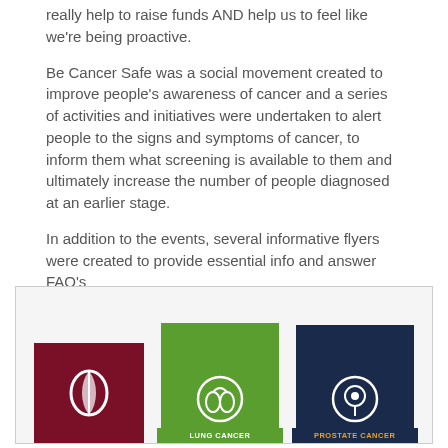really help to raise funds AND help us to feel like we're being proactive.
Be Cancer Safe was a social movement created to improve people's awareness of cancer and a series of activities and initiatives were undertaken to alert people to the signs and symptoms of cancer, to inform them what screening is available to them and ultimately increase the number of people diagnosed at an earlier stage.
In addition to the events, several informative flyers were created to provide essential info and answer FAQ's
Click on the images below for further info
[Figure (illustration): Three cancer awareness flyer thumbnails in a row inside a light bordered box: first is a dark red/maroon card with a white ribbon/lungs icon, second is a green card with a lungs icon and 'LUNG CANCER' text, third is a dark navy card with a prostate icon and 'PROSTATE CANCER' text in gold.]